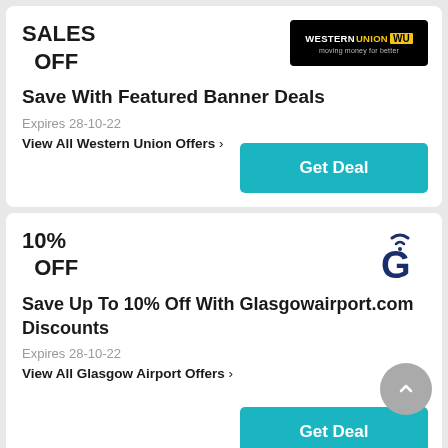SALES
  OFF
Save With Featured Banner Deals
Expires 28-10-22
View All Western Union Offers >
Get Deal
10%
  OFF
Save Up To 10% Off With Glasgowairport.com Discounts
Expires 28-10-22
View All Glasgow Airport Offers >
Get Deal
5%